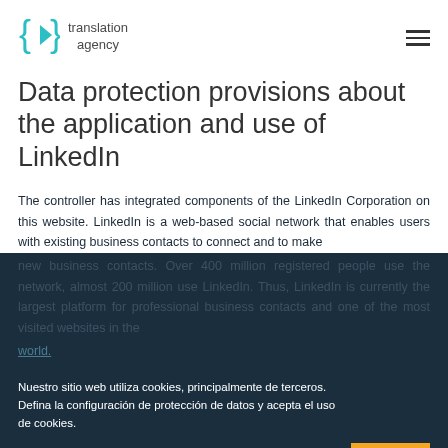translation agency
Data protection provisions about the application and use of LinkedIn
The controller has integrated components of the LinkedIn Corporation on this website. LinkedIn is a web-based social network that enables users with existing business contacts to connect and to make new business contacts. Over 400 million registered people use the network, almost 200 million use LinkedIn. Thus, LinkedIn is currently the largest platform for professional business contacts and one of the most visited websites in the world.
Nuestro sitio web utiliza cookies, principalmente de terceros. Defina la configuración de protección de datos y acepta el uso de cookies.
CONFIGURACIÓN PRIVACIDAD
OK
The operating company of LinkedIn is LinkedIn Corporation, 2029 Stierlin Court, Mountain View, CA